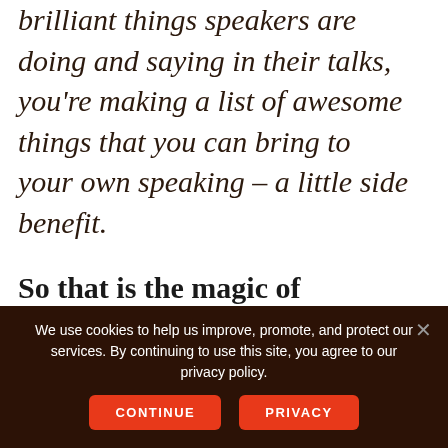brilliant things speakers are doing and saying in their talks, you're making a list of awesome things that you can bring to your own speaking – a little side benefit.
So that is the magic of glorifying others. Start today. See you next
We use cookies to help us improve, promote, and protect our services. By continuing to use this site, you agree to our privacy policy.
CONTINUE
PRIVACY